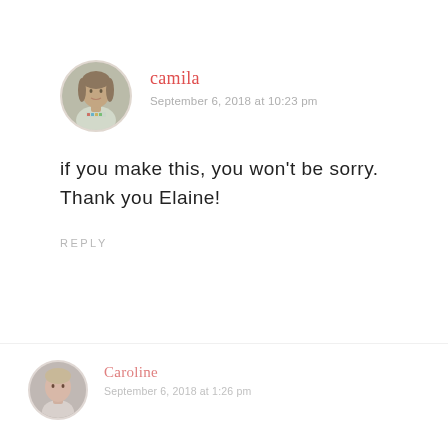[Figure (photo): Circular avatar photo of a young woman with long hair wearing a white t-shirt with colorful text]
camila
September 6, 2018 at 10:23 pm
if you make this, you won't be sorry. Thank you Elaine!
REPLY
[Figure (photo): Circular avatar photo of a young woman with light hair]
Caroline
September 6, 2018 at 1:26 pm